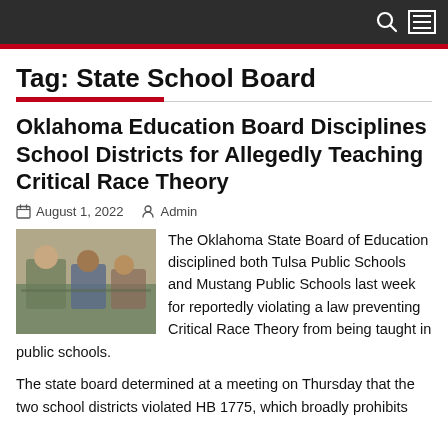Tag: State School Board
Oklahoma Education Board Disciplines School Districts for Allegedly Teaching Critical Race Theory
August 1, 2022   Admin
[Figure (photo): Classroom scene with students and teacher working together at tables]
The Oklahoma State Board of Education disciplined both Tulsa Public Schools and Mustang Public Schools last week for reportedly violating a law preventing Critical Race Theory from being taught in public schools.
The state board determined at a meeting on Thursday that the two school districts violated HB 1775, which broadly prohibits